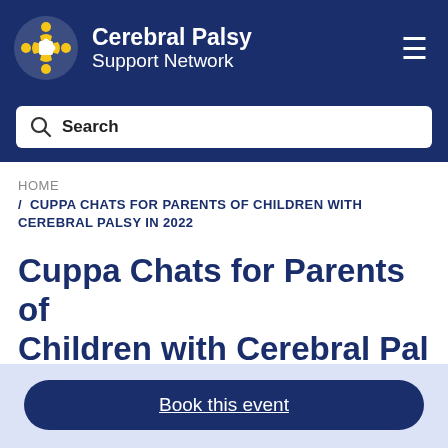Cerebral Palsy Support Network
Search
HOME / CUPPA CHATS FOR PARENTS OF CHILDREN WITH CEREBRAL PALSY IN 2022
Cuppa Chats for Parents of Children with Cerebral Palsy
Book this event